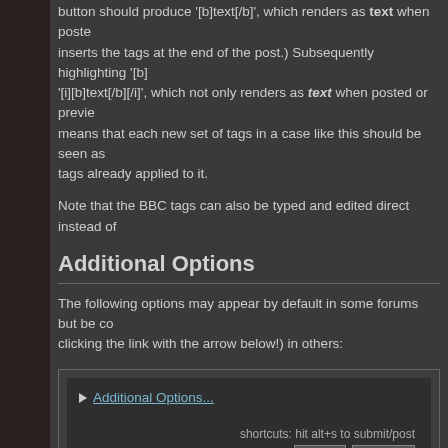button should produce '[b]text[/b]', which renders as text when posted or previewed (it inserts the tags at the end of the post.) Subsequently highlighting '[b]text[/b]' and clicking '[i]' adds '[i][b]text[/b][/i]', which not only renders as text when posted or previewed, but means that each new set of tags in a case like this should be seen as wrapping the tags already applied to it.
Note that the BBC tags can also be typed and edited direct instead of
Additional Options
The following options may appear by default in some forums but be collapsed (expand by clicking the link with the arrow below!) in others:
[Figure (screenshot): A UI box showing 'Additional Options...' expandable link with arrow, shortcuts text, and Post/Preview buttons]
Notify me of replies
Check this to subscribe to email notification for the topic.
Return to this topic
Check this to return to the topic (instead of the message index) after p